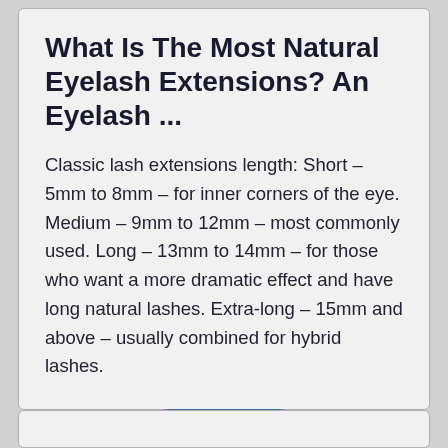What Is The Most Natural Eyelash Extensions? An Eyelash ...
Classic lash extensions length: Short – 5mm to 8mm – for inner corners of the eye. Medium – 9mm to 12mm – most commonly used. Long – 13mm to 14mm – for those who want a more dramatic effect and have long natural lashes. Extra-long – 15mm and above – usually combined for hybrid lashes.